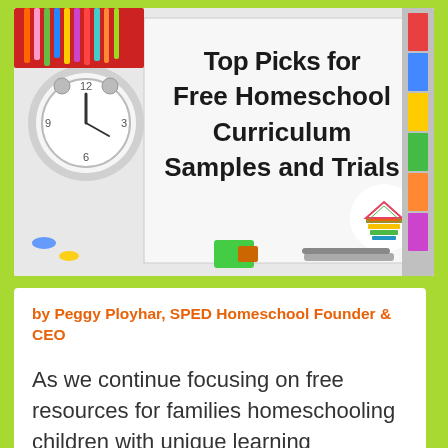[Figure (photo): Photo of school supplies including an alarm clock, colorful pens and pencils, paper clips, a pencil sharpener, a whiteboard displaying the text 'Top Picks for Free Homeschool Curriculum Samples and Trials' in bold yellow-outlined black font, and a stack of colorful books. A SPED Homeschool logo (house icon with rainbow stripes) is visible in the lower right.]
by Peggy Ployhar, SPED Homeschool Founder & CEO
As we continue focusing on free resources for families homeschooling children with unique learning